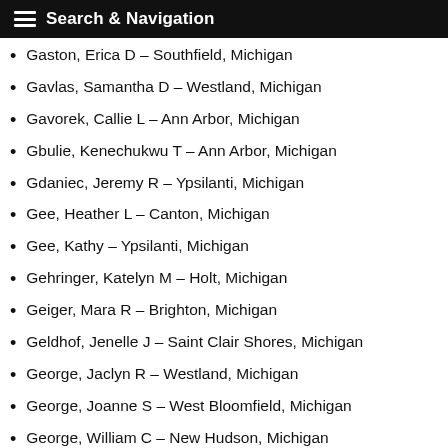Search & Navigation
Gaston, Erica D - Southfield, Michigan
Gavlas, Samantha D - Westland, Michigan
Gavorek, Callie L - Ann Arbor, Michigan
Gbulie, Kenechukwu T - Ann Arbor, Michigan
Gdaniec, Jeremy R - Ypsilanti, Michigan
Gee, Heather L - Canton, Michigan
Gee, Kathy - Ypsilanti, Michigan
Gehringer, Katelyn M - Holt, Michigan
Geiger, Mara R - Brighton, Michigan
Geldhof, Jenelle J - Saint Clair Shores, Michigan
George, Jaclyn R - Westland, Michigan
George, Joanne S - West Bloomfield, Michigan
George, William C - New Hudson, Michigan
Gerebics, Bradley W - Ypsilanti, Michigan
German, Shelby M - Garden City, Michigan
Gervais, Nicole E - Troy, Michigan